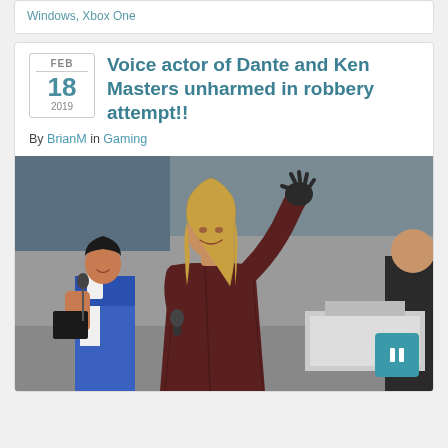Windows, Xbox One
Voice actor of Dante and Ken Masters unharmed in robbery attempt!!
By BrianM in Gaming
[Figure (photo): A man with long blonde hair wearing a dark burgundy leather coat waves to a crowd on stage. He is holding a microphone. To his left is a young woman in a blue and white outfit holding a black book and a microphone. To the far right is another person partially visible. There is a teal square button overlay in the bottom right corner.]